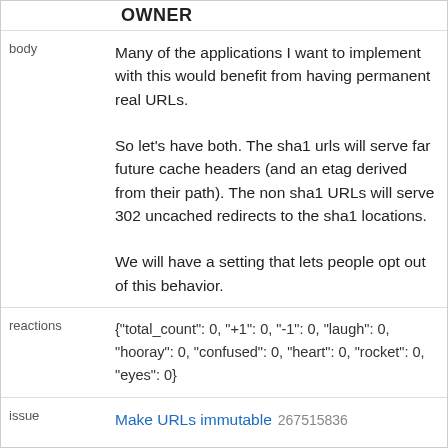OWNER
body
Many of the applications I want to implement with this would benefit from having permanent real URLs.

So let's have both. The sha1 urls will serve far future cache headers (and an etag derived from their path). The non sha1 URLs will serve 302 uncached redirects to the sha1 locations.

We will have a setting that lets people opt out of this behavior.
reactions
{"total_count": 0, "+1": 0, "-1": 0, "laugh": 0, "hooray": 0, "confused": 0, "heart": 0, "rocket": 0, "eyes": 0}
issue
Make URLs immutable 267515836